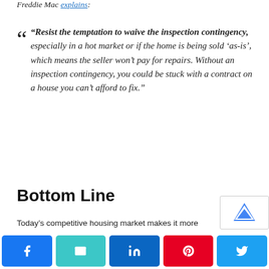Freddie Mac explains:
“Resist the temptation to waive the inspection contingency, especially in a hot market or if the home is being sold ‘as-is’, which means the seller won’t pay for repairs. Without an inspection contingency, you could be stuck with a contract on a house you can’t afford to fix.”
Bottom Line
Today’s competitive housing market makes it more